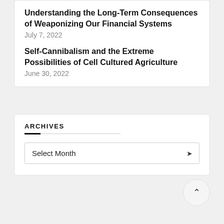Understanding the Long-Term Consequences of Weaponizing Our Financial Systems
July 7, 2022
Self-Cannibalism and the Extreme Possibilities of Cell Cultured Agriculture
June 30, 2022
ARCHIVES
Select Month